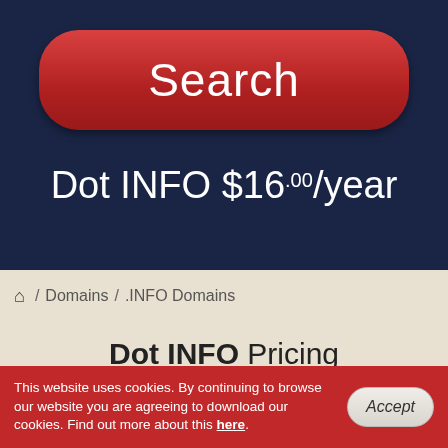[Figure (other): Red pill-shaped Search button on dark navy background]
Dot INFO $16.00/year
/ Domains / .INFO Domains
Dot INFO Pricing
| TLD | 1 Year | 2 years | 3 years | 4 years | 5 years |
| --- | --- | --- | --- | --- | --- |
This website uses cookies. By continuing to browse our website you are agreeing to download our cookies. Find out more about this here.